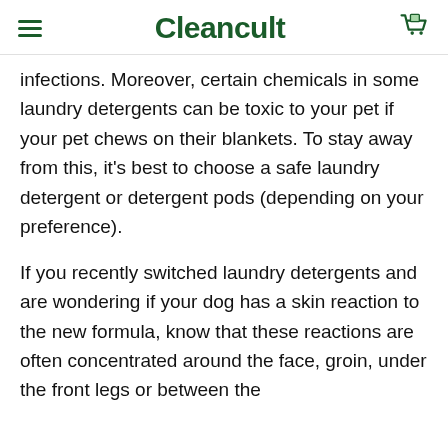Cleancult
infections. Moreover, certain chemicals in some laundry detergents can be toxic to your pet if your pet chews on their blankets. To stay away from this, it's best to choose a safe laundry detergent or detergent pods (depending on your preference).
If you recently switched laundry detergents and are wondering if your dog has a skin reaction to the new formula, know that these reactions are often concentrated around the face, groin, under the front legs or between the